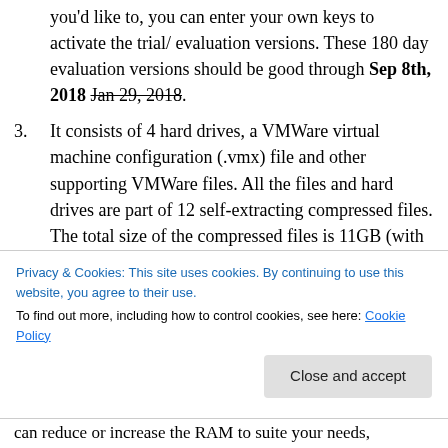you'd like to, you can enter your own keys to activate the trial/ evaluation versions. These 180 day evaluation versions should be good through Sep 8th, 2018 Jan 29, 2018.
It consists of 4 hard drives, a VMWare virtual machine configuration (.vmx) file and other supporting VMWare files. All the files and hard drives are part of 12 self-extracting compressed files. The total size of the compressed files is 11GB (with the total size of the extracted files at about 28 GB). These self-extracting(executable) archive can be downloaded
Privacy & Cookies: This site uses cookies. By continuing to use this website, you agree to their use.
To find out more, including how to control cookies, see here: Cookie Policy
can reduce or increase the RAM to suite your needs,